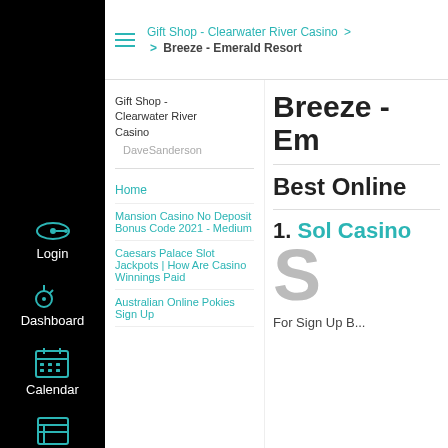Gift Shop - Clearwater River Casino > Breeze - Emerald Resort
Gift Shop - Clearwater River Casino
DaveSanderson
Breeze - Em
Home
Mansion Casino No Deposit Bonus Code 2021 - Medium
Caesars Palace Slot Jackpots | How Are Casino Winnings Paid
Australian Online Pokies Sign Up
Best Online
1. Sol Casino
[Figure (logo): Large grey letter S logo for Sol Casino]